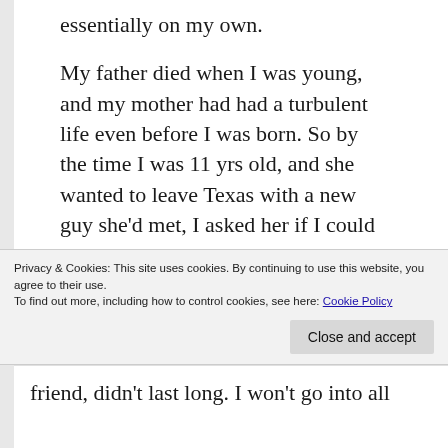essentially on my own.
My father died when I was young, and my mother had had a turbulent life even before I was born. So by the time I was 11 yrs old, and she wanted to leave Texas with a new guy she'd met, I asked her if I could just stay behind, and live with a friend of mine and her mom. My mom, exhausted from life as a single mother, and the constant contention between us, agreed to it.
So I moved in with my friend and her
Privacy & Cookies: This site uses cookies. By continuing to use this website, you agree to their use. To find out more, including how to control cookies, see here: Cookie Policy
friend, didn't last long. I won't go into all